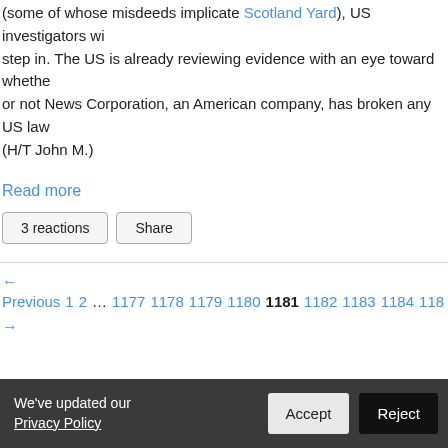(some of whose misdeeds implicate Scotland Yard), US investigators will step in. The US is already reviewing evidence with an eye toward whether or not News Corporation, an American company, has broken any US laws. (H/T John M.)
Read more
3 reactions   Share
← Previous 1 2 … 1177 1178 1179 1180 1181 1182 1183 1184 118… →
We've updated our Privacy Policy   Accept   Reject